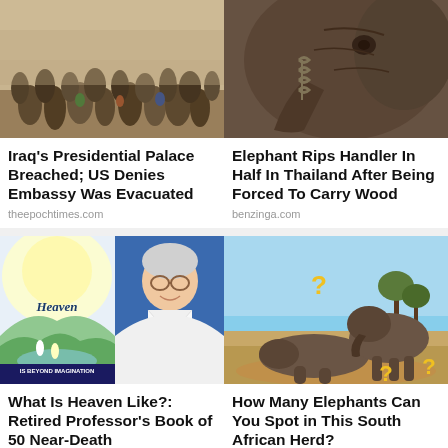[Figure (photo): Crowd scene, protest or riot in a city street, many people, hazy atmosphere]
[Figure (photo): Close-up of an elephant's face and trunk with chains visible]
Iraq's Presidential Palace Breached; US Denies Embassy Was Evacuated
theepochtimes.com
Elephant Rips Handler In Half In Thailand After Being Forced To Carry Wood
benzinga.com
[Figure (photo): Book cover 'Heaven is Beyond Imagination' alongside portrait of elderly man with glasses]
[Figure (photo): Two elephants in a dry South African landscape with yellow question marks overlaid]
What Is Heaven Like?: Retired Professor's Book of 50 Near-Death
How Many Elephants Can You Spot in This South African Herd?